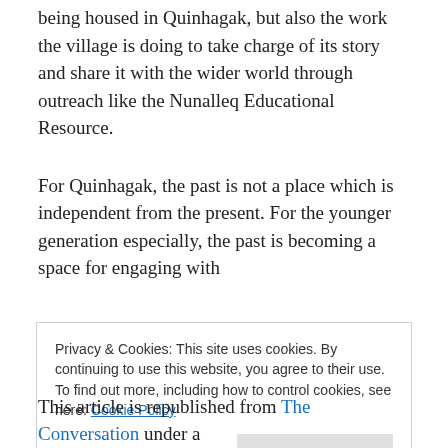being housed in Quinhagak, but also the work the village is doing to take charge of its story and share it with the wider world through outreach like the Nunalleq Educational Resource.
For Quinhagak, the past is not a place which is independent from the present. For the younger generation especially, the past is becoming a space for engaging with
Privacy & Cookies: This site uses cookies. By continuing to use this website, you agree to their use. To find out more, including how to control cookies, see here: Cookie Policy
This article is republished from The Conversation under a